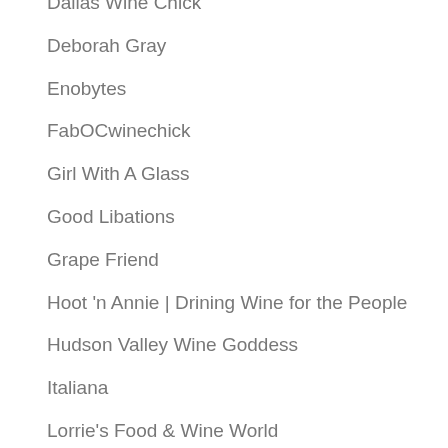Dallas Wine Chick
Deborah Gray
Enobytes
FabOCwinechick
Girl With A Glass
Good Libations
Grape Friend
Hoot 'n Annie | Drining Wine for the People
Hudson Valley Wine Goddess
Italiana
Lorrie's Food & Wine World
Love that Languedoc
Luscious Lushes
Luscious Lushes
Maker's Table